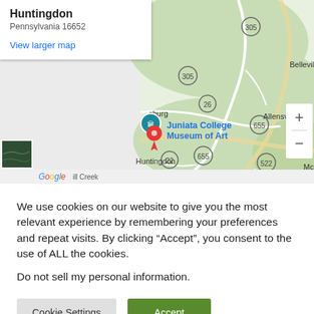[Figure (screenshot): Google Maps screenshot showing Juniata College Museum of Art location in Huntingdon, Pennsylvania, with a red map pin and teal info bubble labeled 'Juniata College Museum of Art'. Map shows surrounding roads, towns including Belleville, Allensville, route numbers 305, 26, 655, 522, 22. Zoom controls (+/-) visible on right side. Satellite thumbnail in bottom left.]
We use cookies on our website to give you the most relevant experience by remembering your preferences and repeat visits. By clicking “Accept”, you consent to the use of ALL the cookies.
Do not sell my personal information.